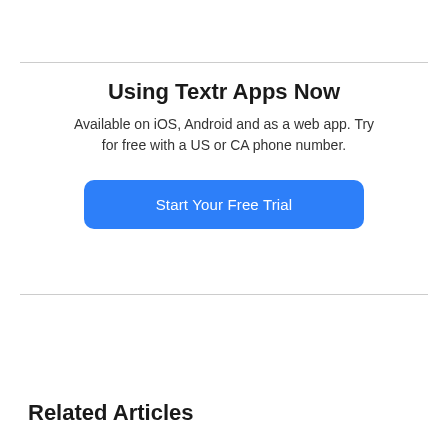Using Textr Apps Now
Available on iOS, Android and as a web app. Try for free with a US or CA phone number.
[Figure (other): Blue call-to-action button with white text reading 'Start Your Free Trial']
Related Articles